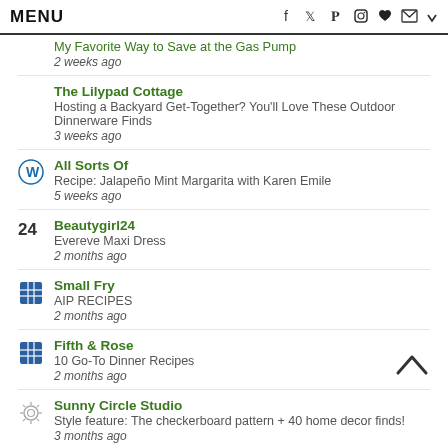MENU
My Favorite Way to Save at the Gas Pump | 2 weeks ago
The Lilypad Cottage | Hosting a Backyard Get-Together? You'll Love These Outdoor Dinnerware Finds | 3 weeks ago
All Sorts Of | Recipe: Jalapeño Mint Margarita with Karen Emile | 5 weeks ago
Beautygirl24 | Evereve Maxi Dress | 2 months ago
Small Fry | AIP RECIPES | 2 months ago
Fifth & Rose | 10 Go-To Dinner Recipes | 2 months ago
Sunny Circle Studio | Style feature: The checkerboard pattern + 40 home decor finds! | 3 months ago